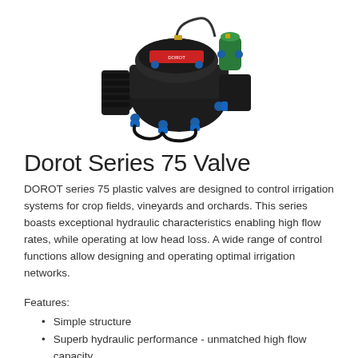[Figure (photo): Photo of a Dorot Series 75 plastic valve — a black body with blue fittings, rubber hoses, and brass/metal top components including a diaphragm actuator and filter.]
Dorot Series 75 Valve
DOROT series 75 plastic valves are designed to control irrigation systems for crop fields, vineyards and orchards. This series boasts exceptional hydraulic characteristics enabling high flow rates, while operating at low head loss. A wide range of control functions allow designing and operating optimal irrigation networks.
Features:
Simple structure
Superb hydraulic performance - unmatched high flow capacity